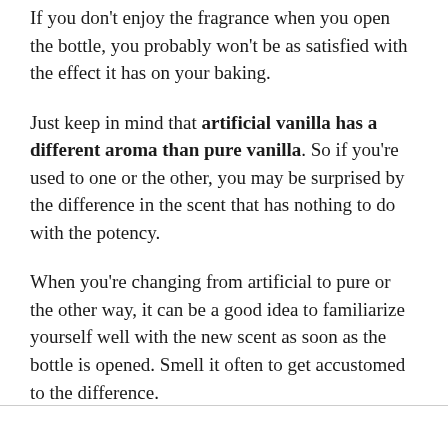If you don't enjoy the fragrance when you open the bottle, you probably won't be as satisfied with the effect it has on your baking.
Just keep in mind that artificial vanilla has a different aroma than pure vanilla. So if you're used to one or the other, you may be surprised by the difference in the scent that has nothing to do with the potency.
When you're changing from artificial to pure or the other way, it can be a good idea to familiarize yourself well with the new scent as soon as the bottle is opened. Smell it often to get accustomed to the difference.